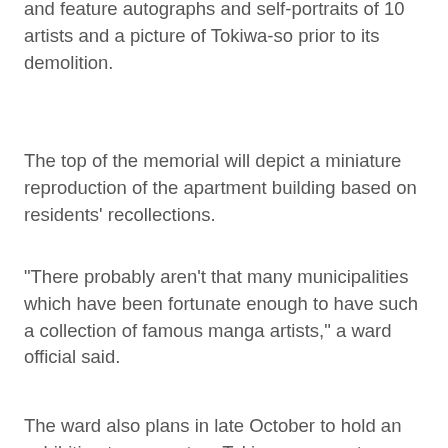and feature autographs and self-portraits of 10 artists and a picture of Tokiwa-so prior to its demolition.
The top of the memorial will depict a miniature reproduction of the apartment building based on residents' recollections.
"There probably aren't that many municipalities which have been fortunate enough to have such a collection of famous manga artists," a ward official said.
The ward also plans in late October to hold an exhibition to re-create a Tokiwa-so room to display fusuma sliding doors featuring the writing of many artists, including Akatsuka.
The ward hopes to differentiate its activities from other similar ideas by concentrating on the lives of the artists themselves, rather than focusing on the characters they created.